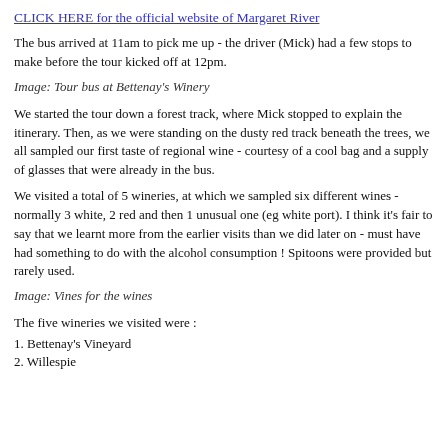CLICK HERE for the official website of Margaret River
The bus arrived at 11am to pick me up - the driver (Mick) had a few stops to make before the tour kicked off at 12pm.
Image: Tour bus at Bettenay's Winery
We started the tour down a forest track, where Mick stopped to explain the itinerary. Then, as we were standing on the dusty red track beneath the trees, we all sampled our first taste of regional wine - courtesy of a cool bag and a supply of glasses that were already in the bus.
We visited a total of 5 wineries, at which we sampled six different wines - normally 3 white, 2 red and then 1 unusual one (eg white port). I think it's fair to say that we learnt more from the earlier visits than we did later on - must have had something to do with the alcohol consumption ! Spitoons were provided but rarely used.
Image: Vines for the wines
The five wineries we visited were :
1. Bettenay's Vineyard
2. Willespie